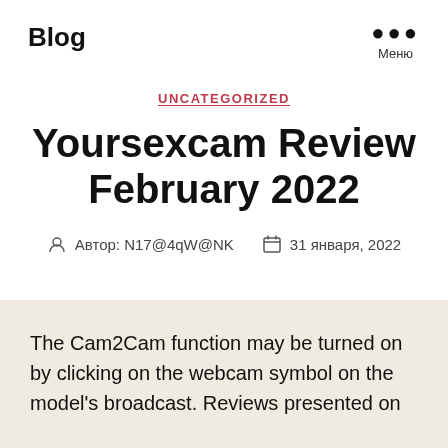Blog
UNCATEGORIZED
Yoursexcam Review February 2022
Автор: N17@4qW@NK   31 января, 2022
The Cam2Cam function may be turned on by clicking on the webcam symbol on the model's broadcast. Reviews presented on